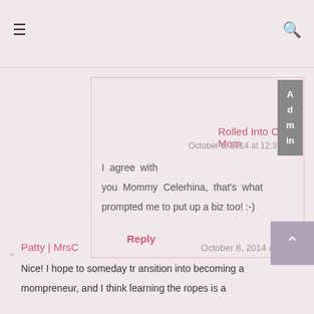≡  🔍
[Figure (logo): Blogger orange circle logo with white B letter, inside a pink-bordered square]
Admin
Rolled Into One Mom
October 6, 2014 at 12:37 PM
I agree with you Mommy Celerhina, that's what prompted me to put up a biz too! :-)
Reply
Patty | MrsC
October 8, 2014 at [time] M
Nice! I hope to someday transition into becoming a mompreneur, and I think learning the ropes is a